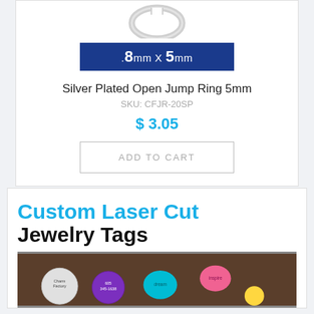[Figure (photo): Silver open jump ring viewed from above on white background]
.8mm X 5mm
Silver Plated Open Jump Ring 5mm
SKU: CFJR-20SP
$ 3.05
ADD TO CART
Custom Laser Cut Jewelry Tags
[Figure (photo): Colorful custom laser cut jewelry tags on a wooden surface]